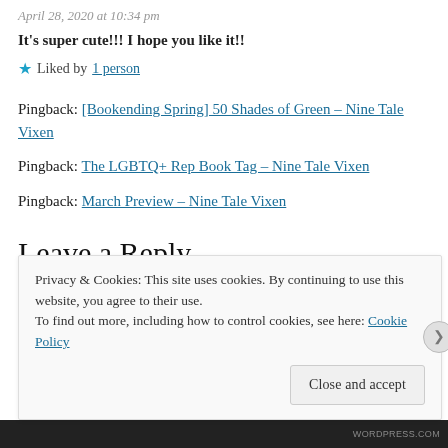April 28, 2020 at 10:34 pm
It's super cute!!! I hope you like it!!
★ Liked by 1 person
Pingback: [Bookending Spring] 50 Shades of Green – Nine Tale Vixen
Pingback: The LGBTQ+ Rep Book Tag – Nine Tale Vixen
Pingback: March Preview – Nine Tale Vixen
Leave a Reply
Privacy & Cookies: This site uses cookies. By continuing to use this website, you agree to their use. To find out more, including how to control cookies, see here: Cookie Policy